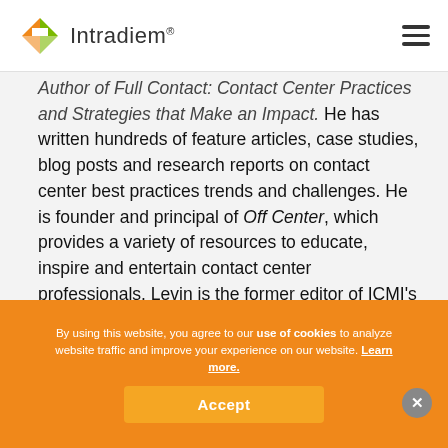Intradiem®
Author of Full Contact: Contact Center Practices and Strategies that Make an Impact. He has written hundreds of feature articles, case studies, blog posts and research reports on contact center best practices trends and challenges. He is founder and principal of Off Center, which provides a variety of resources to educate, inspire and entertain contact center professionals. Levin is the former editor of ICMI's pioneering publication Service Level Newsletter, as well as its highly regarded follow-up journal Call Center Management Review.
By using this website, you agree to our use of cookies to analyze website traffic and improve your experience on our website. Learn more.
Accept